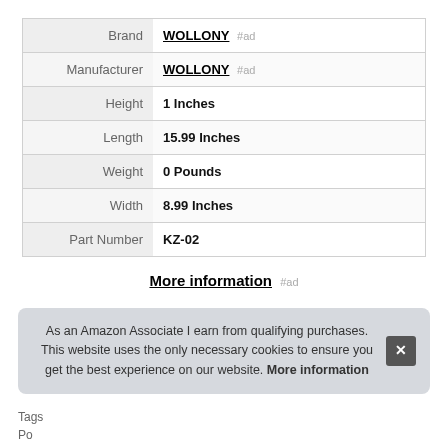|  |  |
| --- | --- |
| Brand | WOLLONY #ad |
| Manufacturer | WOLLONY #ad |
| Height | 1 Inches |
| Length | 15.99 Inches |
| Weight | 0 Pounds |
| Width | 8.99 Inches |
| Part Number | KZ-02 |
More information #ad
As an Amazon Associate I earn from qualifying purchases. This website uses the only necessary cookies to ensure you get the best experience on our website. More information
Tags
Po